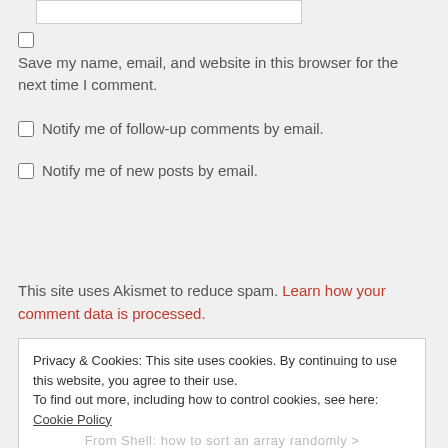Save my name, email, and website in this browser for the next time I comment.
Notify me of follow-up comments by email.
Notify me of new posts by email.
POST COMMENT
This site uses Akismet to reduce spam. Learn how your comment data is processed.
Privacy & Cookies: This site uses cookies. By continuing to use this website, you agree to their use.
To find out more, including how to control cookies, see here: Cookie Policy
Close and accept